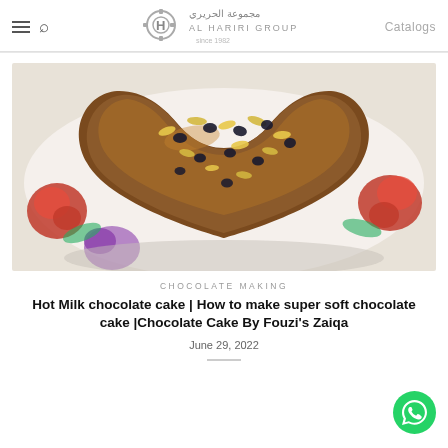AL HARIRI GROUP – مجموعة الحريري – since 1982 | Catalogs
[Figure (photo): Heart-shaped chocolate cake topped with sliced almonds and black raisins, placed on a floral patterned plate with red and purple flowers]
CHOCOLATE MAKING
Hot Milk chocolate cake | How to make super soft chocolate cake |Chocolate Cake By Fouzi's Zaiqa
June 29, 2022